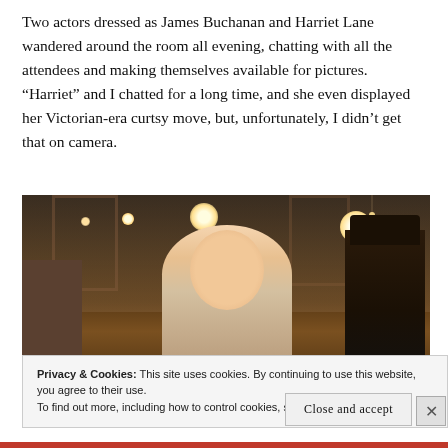Two actors dressed as James Buchanan and Harriet Lane wandered around the room all evening, chatting with all the attendees and making themselves available for pictures. “Harriet” and I chatted for a long time, and she even displayed her Victorian-era curtsy move, but, unfortunately, I didn’t get that on camera.
[Figure (photo): Indoor event photo showing a smiling woman in Victorian-era costume in the center foreground, with string lights and ceiling lights in the background, and a man in a top hat visible at the right edge.]
Privacy & Cookies: This site uses cookies. By continuing to use this website, you agree to their use.
To find out more, including how to control cookies, see here: Cookie Policy
Close and accept